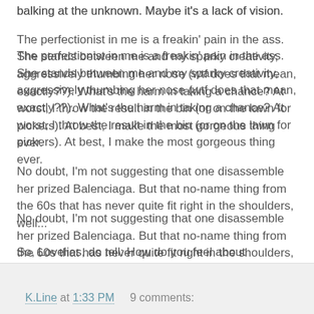balking at the unknown. Maybe it's a lack of vision.
The perfectionist in me is a freakin' pain in the ass. She stands between me and my sparky creativity, aggressively thumbing her nose (wtf does that mean, exactly??). What's the harm in taking a chance? At worst, I throw the result in the bin (or on the lawn for pickers). At best, I make the most gorgeous thing ever.
No doubt, I'm not suggesting that one disassemble her prized Balenciaga. But that no-name thing from the 60s that has never quite fit right in the shoulders, well...
So, Lovelies, do tell: How do you feel about upcycling? Have you ever done this for yourself? Are you afraid to work in the medium of pre-existing garments? Do you feel my fears? What do you think - those of you who are comfortable with this art form - is the easiest item to start with? What should I start with?
K.Line at 1:33 PM    9 comments: